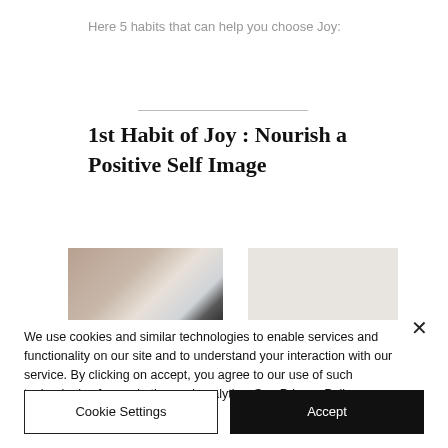Here 5 habits that can help you choose Joy:
1st Habit of Joy : Nourish a Positive Self Image
[Figure (photo): Partial photograph showing a blurred background and a dark vertical stripe, possibly a close-up of a person or object]
We use cookies and similar technologies to enable services and functionality on our site and to understand your interaction with our service. By clicking on accept, you agree to our use of such technologies for marketing and analytics. See Privacy Policy
Cookie Settings
Accept